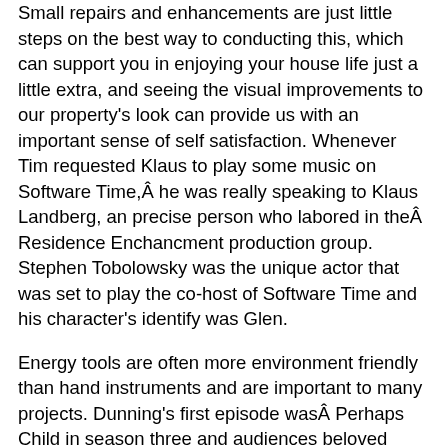Small repairs and enhancements are just little steps on the best way to conducting this, which can support you in enjoying your house life just a little extra, and seeing the visual improvements to our property's look can provide us with an important sense of self satisfaction. Whenever Tim requested Klaus to play some music on Software Time,Â he was really speaking to Klaus Landberg, an precise person who labored in theÂ Residence Enchancment production group. Stephen Tobolowsky was the unique actor that was set to play the co-host of Software Time and his character's identify was Glen.
Energy tools are often more environment friendly than hand instruments and are important to many projects. Dunning's first episode wasÂ Perhaps Child in season three and audiences beloved herÂ the second Software Time girl. Software Man Tim Taylor was a easy, straightforward going man. Before the function went to Pamela Anderson, the creators wanted the actress Ashley Judd to play the Tool Time girl and one of many creators, Matt Williams beloved her audition.